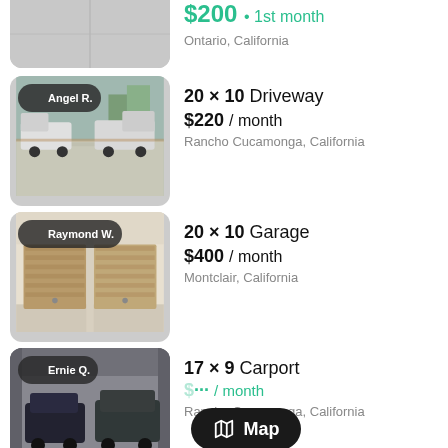[Figure (screenshot): Partial listing thumbnail showing concrete surface, cropped at top]
$200 • 1st month
Ontario, California
[Figure (photo): Driveway with trucks parked, host badge: Angel R.]
20 × 10 Driveway
$220 / month
Rancho Cucamonga, California
[Figure (photo): Garage with two brown garage doors, host badge: Raymond W.]
20 × 10 Garage
$400 / month
Montclair, California
[Figure (photo): Carport with cars parked underneath, host badge: Ernie Q.]
17 × 9 Carport
$... / month
Rancho Cucamonga, California
Map